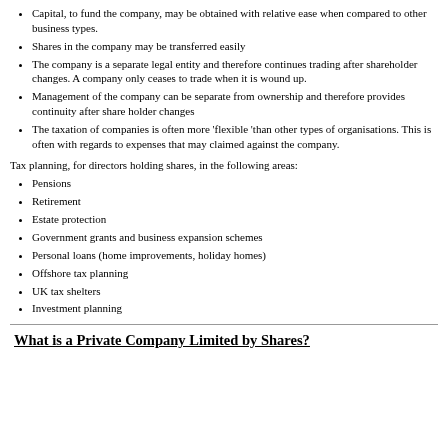Capital, to fund the company, may be obtained with relative ease when compared to other business types.
Shares in the company may be transferred easily
The company is a separate legal entity and therefore continues trading after shareholder changes. A company only ceases to trade when it is wound up.
Management of the company can be separate from ownership and therefore provides continuity after share holder changes
The taxation of companies is often more 'flexible 'than other types of organisations. This is often with regards to expenses that may claimed against the company.
Tax planning, for directors holding shares, in the following areas:
Pensions
Retirement
Estate protection
Government grants and business expansion schemes
Personal loans (home improvements, holiday homes)
Offshore tax planning
UK tax shelters
Investment planning
What is a Private Company Limited by Shares?